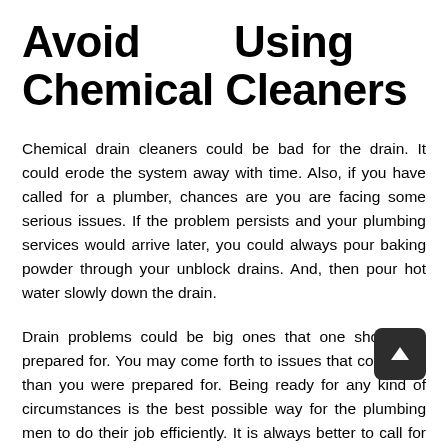Avoid Using Any Chemical Cleaners
Chemical drain cleaners could be bad for the drain. It could erode the system away with time. Also, if you have called for a plumber, chances are you are facing some serious issues. If the problem persists and your plumbing services would arrive later, you could always pour baking powder through your unblock drains. And, then pour hot water slowly down the drain.
Drain problems could be big ones that one should be prepared for. You may come forth to issues that cost more than you were prepared for. Being ready for any kind of circumstances is the best possible way for the plumbing men to do their job efficiently. It is always better to call for unblocking drains London services before it is too late. But before choosing